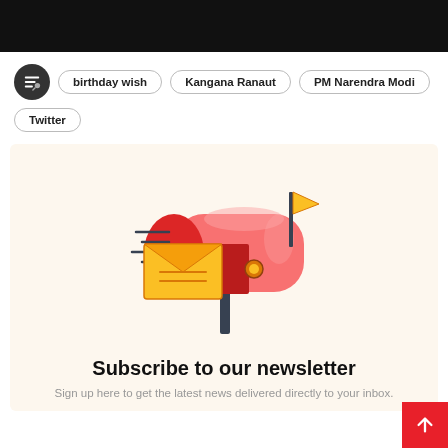[Figure (other): Black bar at top of page]
birthday wish
Kangana Ranaut
PM Narendra Modi
Twitter
[Figure (illustration): Newsletter subscription mailbox illustration — a red mailbox with an envelope flying out and a yellow flag on top, on a cream background]
Subscribe to our newsletter
Sign up here to get the latest news delivered directly to your inbox.